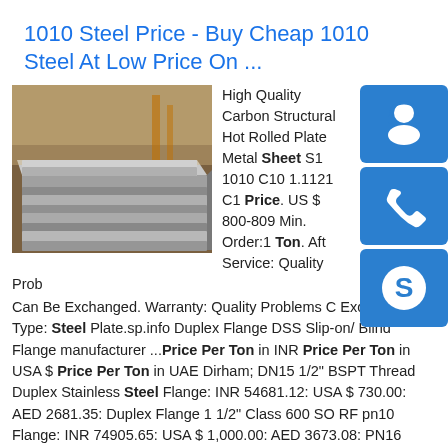1010 Steel Price - Buy Cheap 1010 Steel At Low Price On ...
[Figure (photo): Stack of steel plates/sheets piled on top of each other, industrial setting]
High Quality Carbon Structural Hot Rolled Plate Metal Sheet S1 1010 C10 1.1121 C1 Price. US $ 800-809 Min. Order:1 Ton. Aft Service: Quality Prob Can Be Exchanged. Warranty: Quality Problems C Exchanged. Type: Steel Plate.sp.info Duplex Flange DSS Slip-on/ Blind Flange manufacturer ...Price Per Ton in INR Price Per Ton in USA $ Price Per Ton in UAE Dirham; DN15 1/2" BSPT Thread Duplex Stainless Steel Flange: INR 54681.12: USA $ 730.00: AED 2681.35: Duplex Flange 1 1/2" Class 600 SO RF pn10 Flange: INR 74905.65: USA $ 1,000.00: AED 3673.08: PN16 1.4462 duplex stainless steel flange: INR 41198.11: USA $